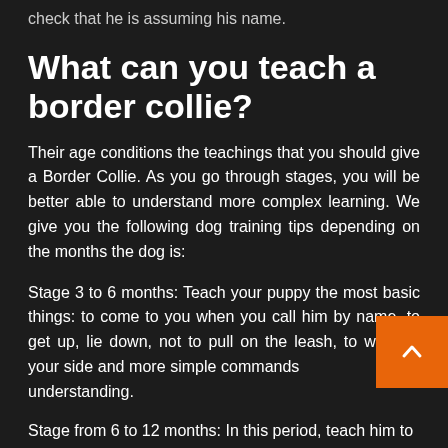check that he is assuming his name.
What can you teach a border collie?
Their age conditions the teachings that you should give a Border Collie. As you go through stages, you will be better able to understand more complex learning. We give you the following dog training tips depending on the months the dog is:
Stage 3 to 6 months: Teach your puppy the most basic things: to come to you when you call him by name, to get up, lie down, not to pull on the leash, to walk by your side and more simple commands understanding.
Stage from 6 to 12 months: In this period, teach him to